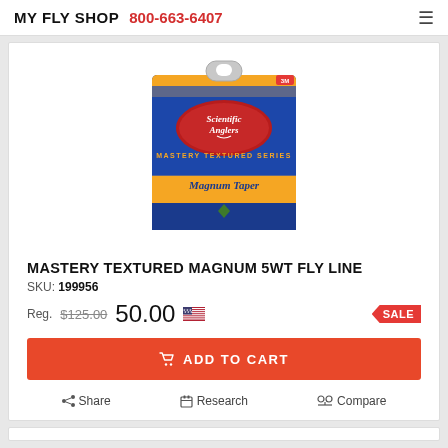MY FLY SHOP  800-663-6407
[Figure (photo): Scientific Anglers Mastery Textured Series Magnum Taper fly line product box — blue and orange packaging]
MASTERY TEXTURED MAGNUM 5WT FLY LINE
SKU: 199956
Reg. $125.00  50.00  SALE
ADD TO CART
Share  Research  Compare